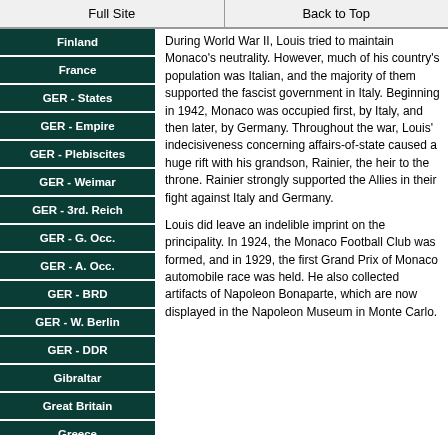Full Site | Back to Top
Finland
France
GER - States
GER - Empire
GER - Plebiscites
GER - Weimar
GER - 3rd. Reich
GER - G. Occ.
GER - A. Occ.
GER - BRD
GER - W. Berlin
GER - DDR
Gibraltar
Great Britain
Greece
During World War II, Louis tried to maintain Monaco's neutrality.  However, much of his country's population was Italian, and the majority of them supported the fascist government in Italy.  Beginning in 1942, Monaco was occupied first, by Italy, and then later, by Germany.  Throughout the war, Louis' indecisiveness concerning affairs-of-state caused a huge rift with his grandson, Rainier, the heir to the throne.  Rainier strongly supported the Allies in their fight against Italy and Germany.
Louis did leave an indelible imprint on the principality.  In 1924, the Monaco Football Club was formed, and in 1929, the first Grand Prix of Monaco automobile race was held.  He also collected artifacts of Napoleon Bonaparte, which are now displayed in the Napoleon Museum in Monte Carlo.